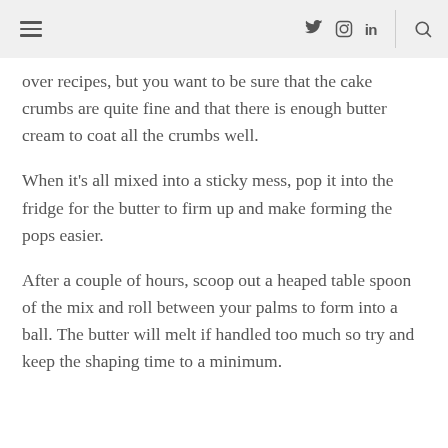≡   Twitter Instagram LinkedIn   🔍
over recipes, but you want to be sure that the cake crumbs are quite fine and that there is enough butter cream to coat all the crumbs well.
When it's all mixed into a sticky mess, pop it into the fridge for the butter to firm up and make forming the pops easier.
After a couple of hours, scoop out a heaped table spoon of the mix and roll between your palms to form into a ball. The butter will melt if handled too much so try and keep the shaping time to a minimum.